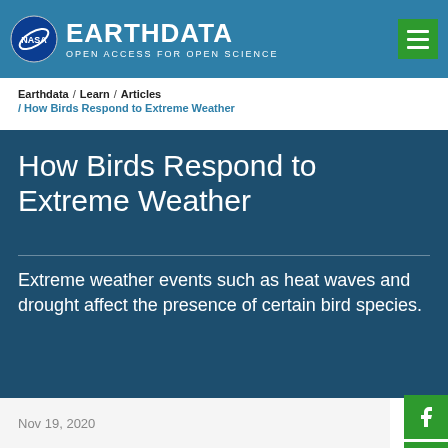NASA EARTHDATA / OPEN ACCESS FOR OPEN SCIENCE
Earthdata / Learn / Articles / How Birds Respond to Extreme Weather
How Birds Respond to Extreme Weather
Extreme weather events such as heat waves and drought affect the presence of certain bird species.
Nov 19, 2020